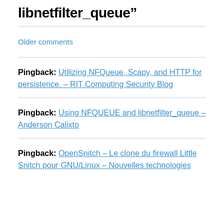libnetfilter_queue”
Older comments
Pingback: Utilizing NFQueue, Scapy, and HTTP for persistence. – RIT Computing Security Blog
Pingback: Using NFQUEUE and libnetfilter_queue – Anderson Calixto
Pingback: OpenSnitch – Le clone du firewall Little Snitch pour GNU/Linux – Nouvelles technologies